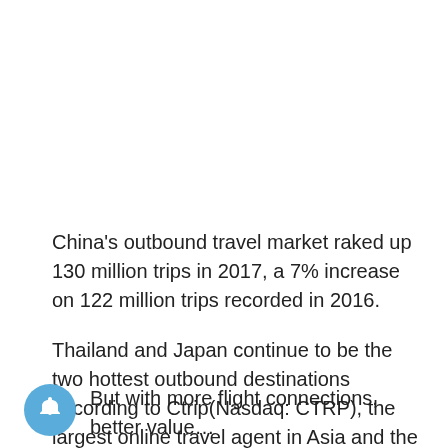China's outbound travel market raked up 130 million trips in 2017, a 7% increase on 122 million trips recorded in 2016.
Thailand and Japan continue to be the two hottest outbound destinations according to Ctrip(Nasdaq: CTRP), the largest online travel agent in Asia and the second largest in the world.
[Figure (other): Bell/notification icon — circular blue button with a white bell symbol]
But with more flight connections, better value…